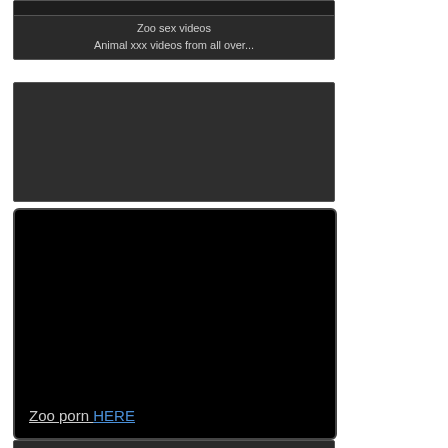[Figure (screenshot): Dark gray card with image placeholder at top and text below]
Zoo sex videos
Animal xxx videos from all over...
[Figure (screenshot): Dark gray rectangular block, video thumbnail placeholder]
[Figure (screenshot): Black large card with link text at bottom: Zoo porn HERE]